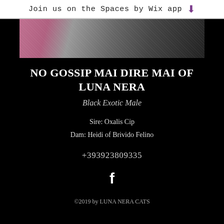Join us on the Spaces by Wix app
[Figure (photo): Close-up photo of a black cat with pink/rose background visible on the left]
NO GOSSIP MAI DIRE MAI OF LUNA NERA
Black Exotic Male
Sire: Oxalis Cip
Dam: Heidi of Brivido Felino
+393923809335
[Figure (logo): Facebook logo icon (f)]
©2019 by LUNA NERA CATS